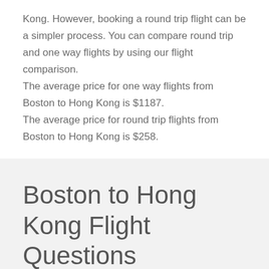Kong. However, booking a round trip flight can be a simpler process. You can compare round trip and one way flights by using our flight comparison.
The average price for one way flights from Boston to Hong Kong is $1187.
The average price for round trip flights from Boston to Hong Kong is $258.
Boston to Hong Kong Flight Questions